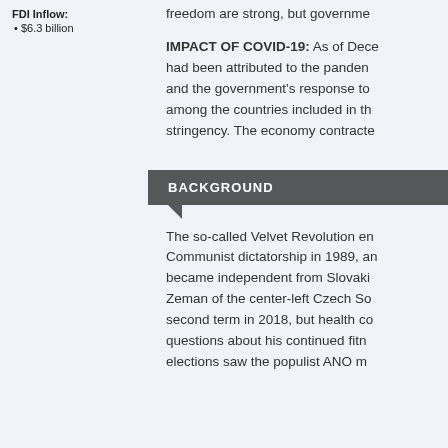FDI Inflow:
$6.3 billion
freedom are strong, but governme...
IMPACT OF COVID-19: As of Dece... had been attributed to the panden... and the government's response to... among the countries included in th... stringency. The economy contracte...
BACKGROUND
The so-called Velvet Revolution en... Communist dictatorship in 1989, an... became independent from Slovaki... Zeman of the center-left Czech So... second term in 2018, but health co... questions about his continued fitn... elections saw the populist ANO m...